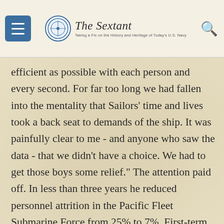The Sextant – Taking a Fix on the History and Heritage of Today's U.S. Navy
efficient as possible with each person and every second. For far too long we had fallen into the mentality that Sailors' time and lives took a back seat to demands of the ship. It was painfully clear to me - and anyone who saw the data - that we didn't have a choice. We had to get those boys some relief." The attention paid off. In less than three years he reduced personnel attrition in the Pacific Fleet Submarine Force from 25% to 7%. First-term retention had doubled from 30 percent to 60 percent.